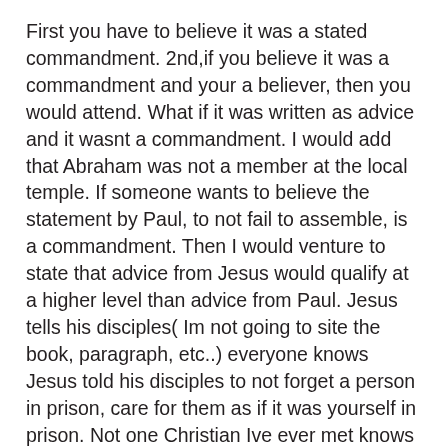First you have to believe it was a stated commandment. 2nd,if you believe it was a commandment and your a believer, then you would attend. What if it was written as advice and it wasnt a commandment. I would add that Abraham was not a member at the local temple. If someone wants to believe the statement by Paul, to not fail to assemble, is a commandment. Then I would venture to state that advice from Jesus would qualify at a higher level than advice from Paul. Jesus tells his disciples( Im not going to site the book, paragraph, etc..) everyone knows Jesus told his disciples to not forget a person in prison, care for them as if it was yourself in prison. Not one Christian Ive ever met knows how to respond to that recommendation. Point is this. You supposedly saved Christians cant even do what Christ asked you to do. You expect people to come and worship God in your Church, follow Gods principles for worship, and you, your community, cant do what